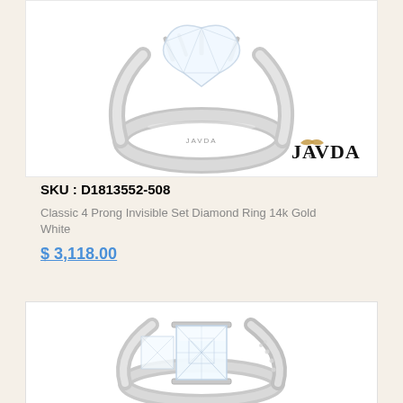[Figure (photo): Diamond ring with JAVDA branding logo in bottom right corner, showing a solitaire ring with pear/marquise cut diamond in white gold setting, photographed on white background]
SKU : D1813552-508
Classic 4 Prong Invisible Set Diamond Ring 14k Gold White
$ 3,118.00
[Figure (photo): Diamond ring with princess cut center stone and invisible set side diamonds in white gold setting, photographed on white background]